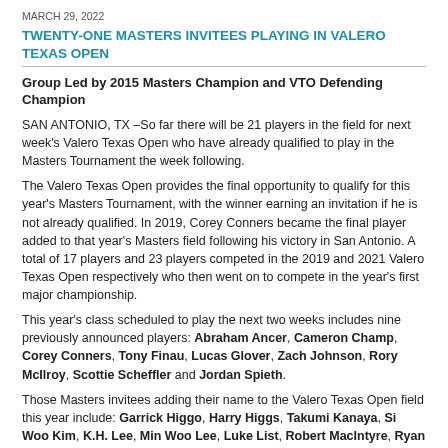MARCH 29, 2022
TWENTY-ONE MASTERS INVITEES PLAYING IN VALERO TEXAS OPEN
Group Led by 2015 Masters Champion and VTO Defending Champion
SAN ANTONIO, TX –So far there will be 21 players in the field for next week's Valero Texas Open who have already qualified to play in the Masters Tournament the week following.
The Valero Texas Open provides the final opportunity to qualify for this year's Masters Tournament, with the winner earning an invitation if he is not already qualified. In 2019, Corey Conners became the final player added to that year's Masters field following his victory in San Antonio. A total of 17 players and 23 players competed in the 2019 and 2021 Valero Texas Open respectively who then went on to compete in the year's first major championship.
This year's class scheduled to play the next two weeks includes nine previously announced players: Abraham Ancer, Cameron Champ, Corey Conners, Tony Finau, Lucas Glover, Zach Johnson, Rory McIlroy, Scottie Scheffler and Jordan Spieth.
Those Masters invitees adding their name to the Valero Texas Open field this year include: Garrick Higgo, Harry Higgs, Takumi Kanaya, Si Woo Kim, K.H. Lee, Min Woo Lee, Luke List, Robert MacIntyre, Ryan Palmer, Hudson Swafford, Lee Westwood and Gary Woodland.
Westwood (England) will make his Texas Open debut this year along with several other highly ranked international starts -- Higgo (South Africa), Kanaya (Japan), Min Woo Lee (Australia) and Robert MacIntyre (Scotland).
Woodland, who finished T6 in the event one year ago, makes it back-to-back appearances.
List and Swafford both won earlier this season during the west coast swing. It will be List's sixth